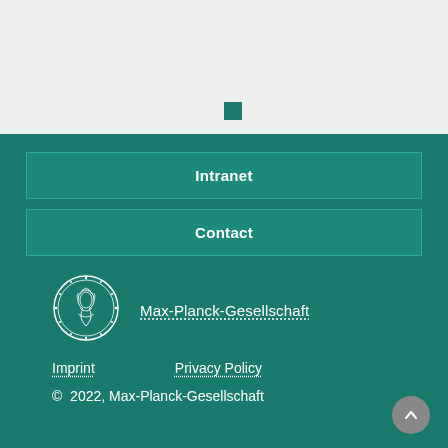[Figure (other): Light gray top section with a small teal/dark green square near the bottom center]
Intranet
Contact
[Figure (logo): Max-Planck-Gesellschaft circular medallion logo with a classical face profile, white outline on teal background]
Max-Planck-Gesellschaft
Imprint
Privacy Policy
© 2022, Max-Planck-Gesellschaft